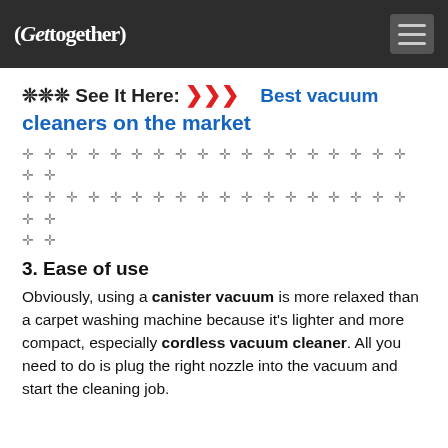(Gettogether)
❊❊❊ See It Here: >>> Best vacuum cleaners on the market
✛ ✛ ✛ ✛ ✛ ✛ ✛ ✛ ✛ ✛ ✛ ✛ ✛ ✛ ✛ ✛ ✛ ✛ ✛ ✛ ✛ ✛ ✛ ✛ ✛ ✛ ✛ ✛ ✛ ✛ ✛ ✛ ✛ ✛ ✛ ✛ ✛ ✛ ✛ ✛ ✛ ✛
3. Ease of use
Obviously, using a canister vacuum is more relaxed than a carpet washing machine because it's lighter and more compact, especially cordless vacuum cleaner. All you need to do is plug the right nozzle into the vacuum and start the cleaning job.